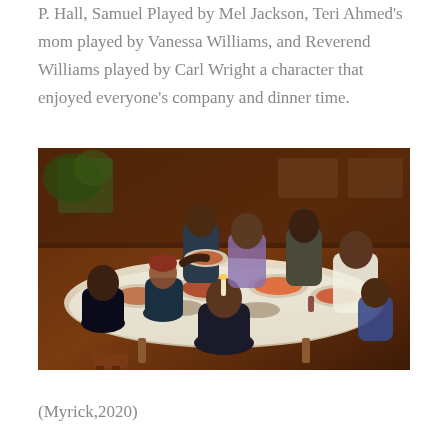P. Hall, Samuel Played by Mel Jackson, Teri Ahmed's mom played by Vanessa Williams, and Reverend Williams played by Carl Wright a character that enjoyed everyone's company and dinner time.
[Figure (photo): A family gathered around a dinner table sharing a meal, with multiple people of various ages passing dishes of food. The setting appears warm and festive, reminiscent of a holiday dinner scene from a film.]
(Myrick,2020)